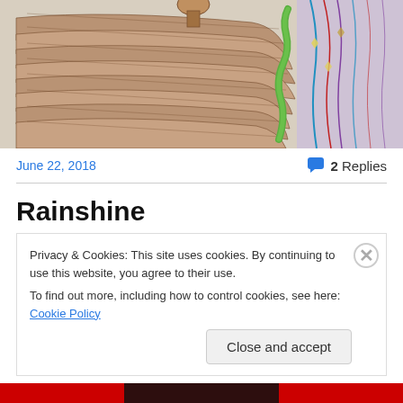[Figure (illustration): Detailed pencil/colored drawing showing layered feathers or scales with brown tones, a green snake-like element, and colorful lines on a light purple background on the right side.]
June 22, 2018
2 Replies
Rainshine
Privacy & Cookies: This site uses cookies. By continuing to use this website, you agree to their use.
To find out more, including how to control cookies, see here: Cookie Policy
Close and accept
[Figure (photo): Red banner strip at the bottom with a partially visible dark image in the center.]